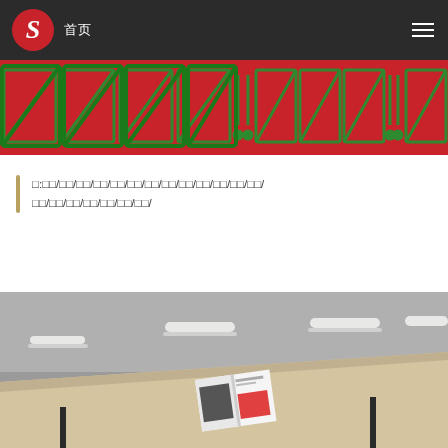S 首页
[Figure (illustration): Red decorative banner with outlined square/diamond shapes in green on red background, repeating pattern]
□:□□/□□/□□/□□/□□/□□/□□/□□/□□/□□/□□/□□/□□/□□/□□/□□/□□/□□/□□/□□/
[Figure (photo): Conference room with beige table, white chairs, and a magazine/brochure open on the table]